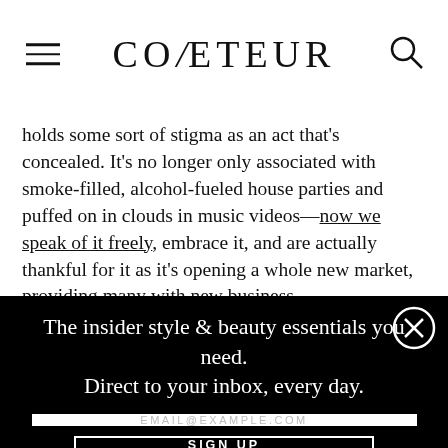COVETEUR
holds some sort of stigma as an act that's concealed. It's no longer only associated with smoke-filled, alcohol-fueled house parties and puffed on in clouds in music videos—now we speak of it freely, embrace it, and are actually thankful for it as it's opening a whole new market, providing many with new business
[Figure (other): Newsletter signup modal overlay with black background. Headline: 'The insider style & beauty essentials you need. Direct to your inbox, every day.' Email input field placeholder 'EMAIL@EXAMPLE.COM', and a SIGN UP button. Close button (X in circle) in top-right corner.]